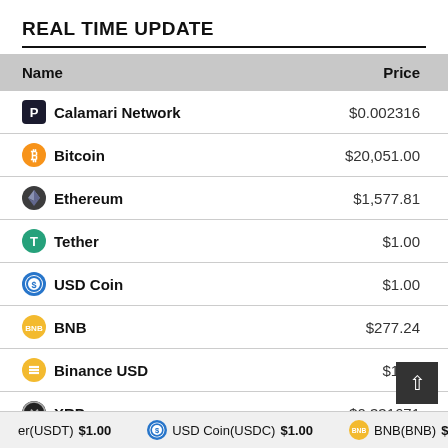REAL TIME UPDATE
| Name | Price |
| --- | --- |
| Calamari Network | $0.002316 |
| Bitcoin | $20,051.00 |
| Ethereum | $1,577.81 |
| Tether | $1.00 |
| USD Coin | $1.00 |
| BNB | $277.24 |
| Binance USD | $1.00 |
| XRP | $0.331671 |
| Cardano (partial) | $0.457107 (partial) |
Tether(USDT) $1.00   USD Coin(USDC) $1.00   BNB(BNB) $277